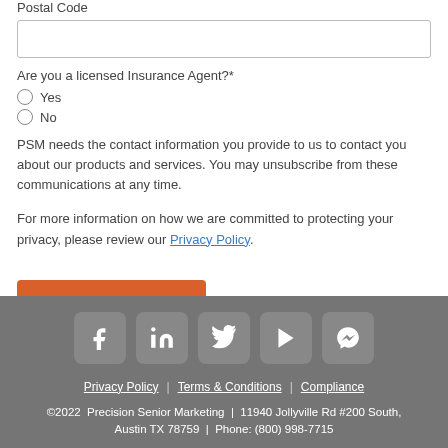Postal Code
Are you a licensed Insurance Agent?*
Yes
No
PSM needs the contact information you provide to us to contact you about our products and services. You may unsubscribe from these communications at any time.
For more information on how we are committed to protecting your privacy, please review our Privacy Policy.
Request More Info
Privacy Policy | Terms & Conditions | Compliance
©2022 Precision Senior Marketing | 11940 Jollyville Rd #200 South, Austin TX 78759 | Phone: (800) 998-7715